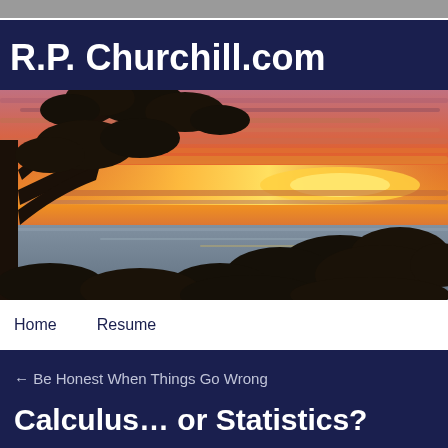R.P. Churchill.com
[Figure (photo): Sunset photo with silhouetted trees in foreground, dramatic orange and pink clouds over a body of water]
Home   Resume
← Be Honest When Things Go Wrong
Calculus… or Statistics?